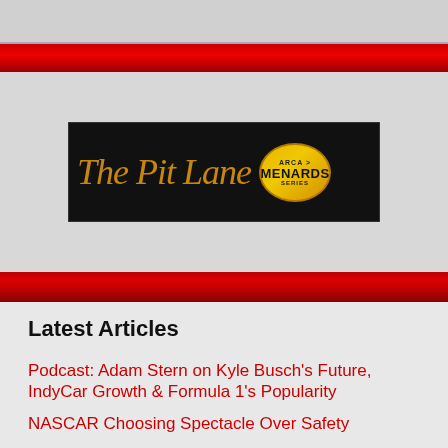[Figure (logo): The Pit Lane ARCA Menards Series logo on black background with orange italic serif text and gold oval Menards badge]
Latest Articles
Podcast: Adam Stern on Kyle Busch's Future, IndyCar Growth & Formula 1's Popularity
NASCAR Choosing Spectacle Over Safety
[Figure (illustration): BitLife advertisement banner: BitLife NOW WITH GOD MODE with thumbs up and pointing hand graphics on light blue background]